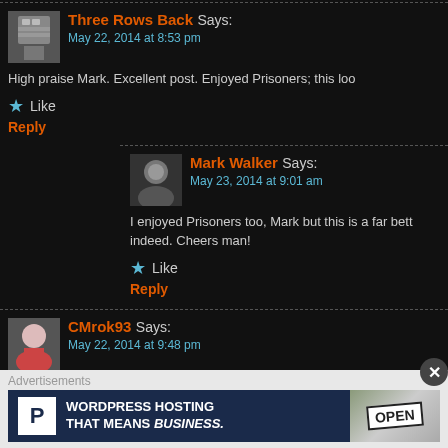Three Rows Back Says: May 22, 2014 at 8:53 pm
High praise Mark. Excellent post. Enjoyed Prisoners; this loo
Like
Reply
Mark Walker Says: May 23, 2014 at 9:01 am
I enjoyed Prisoners too, Mark but this is a far bett indeed. Cheers man!
Like
Reply
CMrok93 Says: May 22, 2014 at 9:48 pm
It's a very strange movie, but I think it needed to be in order way. Also helped that Jake Gyllenhaal is a pretty great
Advertisements
[Figure (infographic): WordPress Hosting advertisement banner: P icon, text 'WORDPRESS HOSTING THAT MEANS BUSINESS.' with OPEN sign image]